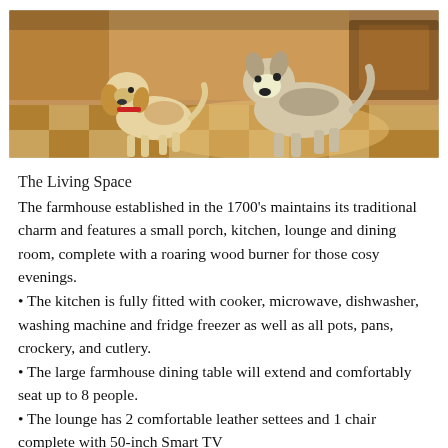[Figure (photo): Two dogs (a beagle-type and a larger husky/mixed breed) standing on a tiled/stone floor inside what appears to be a farmhouse interior with warm tones.]
The Living Space
The farmhouse established in the 1700's maintains its traditional charm and features a small porch, kitchen, lounge and dining room, complete with a roaring wood burner for those cosy evenings.
• The kitchen is fully fitted with cooker, microwave, dishwasher, washing machine and fridge freezer as well as all pots, pans, crockery, and cutlery.
• The large farmhouse dining table will extend and comfortably seat up to 8 people.
• The lounge has 2 comfortable leather settees and 1 chair complete with 50-inch Smart TV